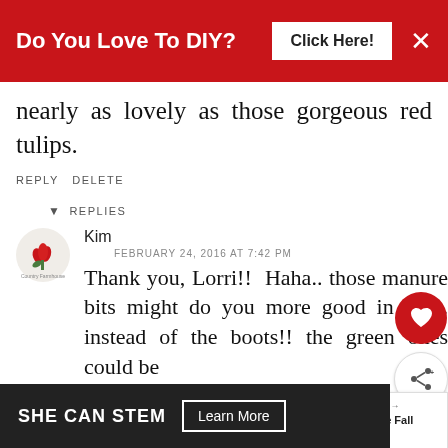[Figure (screenshot): Red top banner advertisement: 'Do You Love To DIY?' with 'Click Here!' button and close X]
nearly as lovely as those gorgeous red tulips.
REPLY DELETE
▾ REPLIES
[Figure (logo): Avatar icon with red flower/tulip design]
Kim
FEBRUARY 24, 2016 AT 7:42 PM
Thank you, Lorri!! Haha.. those manure bits might do you more good in the... instead of the boots!! the green ones could be
[Figure (infographic): What's Next: Cottage Style Fall Decor promo with circular thumbnail]
[Figure (screenshot): Bottom ad banner: SHE CAN STEM with Learn More button]